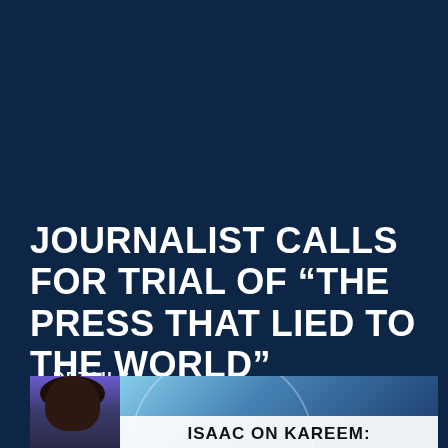JOURNALIST CALLS FOR TRIAL OF “THE PRESS THAT LIED TO THE WORLD”
DETAILS
[Figure (screenshot): A news broadcast screenshot showing a person on the left with curly hair against a globe/Earth background, with a white lower-third banner reading 'ISAAC ON KAREEM:']
ISAAC ON KAREEM: